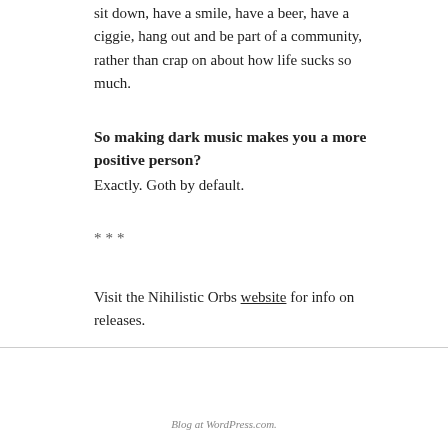sit down, have a smile, have a beer, have a ciggie, hang out and be part of a community, rather than crap on about how life sucks so much.
So making dark music makes you a more positive person?
Exactly. Goth by default.
***
Visit the Nihilistic Orbs website for info on releases.
Blog at WordPress.com.